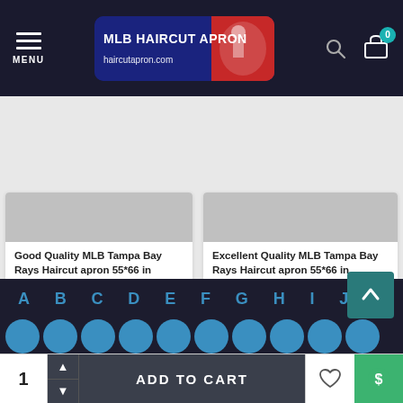[Figure (screenshot): MLB Haircut Apron website navigation bar with menu icon, logo, search and cart icons]
Good Quality MLB Tampa Bay Rays Haircut apron 55*66 in #179731 Professional Hair Cutting Apron
$45.00
Excellent Quality MLB Tampa Bay Rays Haircut apron 55*66 in #179934 Unisex Barbers for Hair Cutting Apron
$45.00
A B C D E F G H I J K
L M N O P Q R S T U
V W X Y Z 0-9 All Tag
ADD TO CART